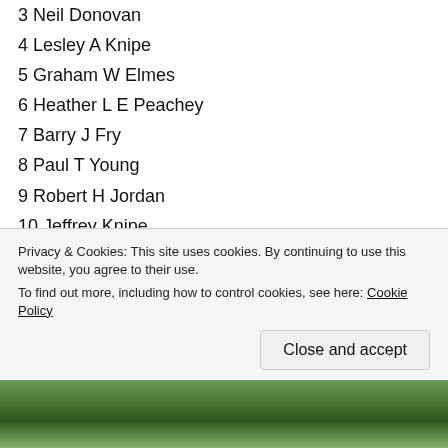3 Neil Donovan
4 Lesley A Knipe
5 Graham W Elmes
6 Heather L E Peachey
7 Barry J Fry
8 Paul T Young
9 Robert H Jordan
10 Jeffrey Knipe
11 Malcolm S Turner
12 Timothy F Collins (C)
1000th Peal, all rung on conventional tower bells – Barry D...
Privacy & Cookies: This site uses cookies. By continuing to use this website, you agree to their use. To find out more, including how to control cookies, see here: Cookie Policy
[Figure (photo): Outdoor photo showing trees and a building, visible at the bottom of the page]